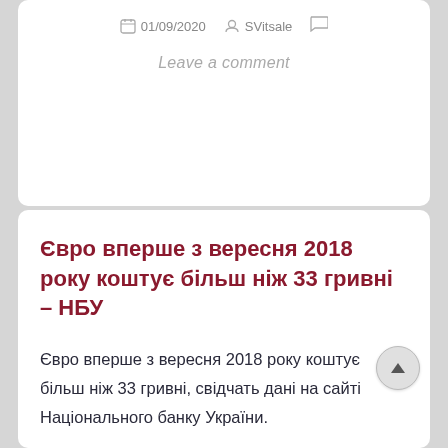01/09/2020  SVitsale
Leave a comment
Євро вперше з вересня 2018 року коштує більш ніж 33 гривні – НБУ
Євро вперше з вересня 2018 року коштує більш ніж 33 гривні, свідчать дані на сайті Національного банку України.
Євро подорожчав на 17 копійок і на